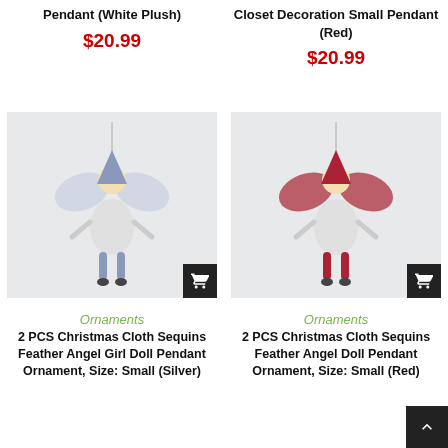Pendant (White Plush)
$20.99
Closet Decoration Small Pendant (Red)
$20.99
[Figure (photo): Silver/blue Christmas cloth sequins feather angel girl doll pendant ornament hanging against white background]
[Figure (photo): Red Christmas cloth sequins feather angel doll pendant ornament hanging against white background]
Ornaments
2 PCS Christmas Cloth Sequins Feather Angel Girl Doll Pendant Ornament, Size: Small (Silver)
Ornaments
2 PCS Christmas Cloth Sequins Feather Angel Doll Pendant Ornament, Size: Small (Red)